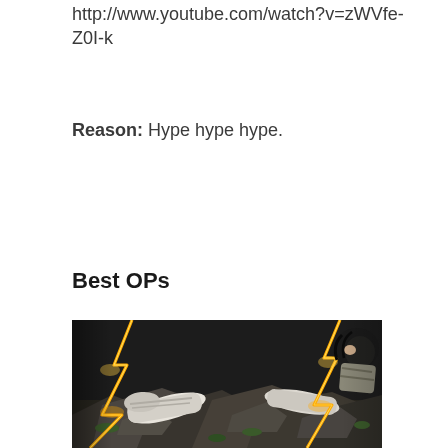http://www.youtube.com/watch?v=zWVfe-Z0I-k
Reason: Hype hype hype.
Best OPs
[Figure (photo): Anime scene showing fallen figures on rocky ground with orange/gold lightning bolts, in a dark dramatized art style.]